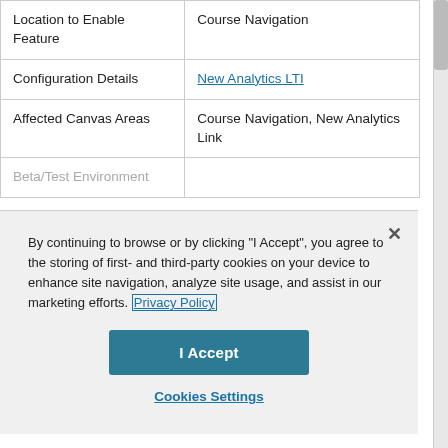| Location to Enable Feature | Course Navigation |
| Configuration Details | New Analytics LTI |
| Affected Canvas Areas | Course Navigation, New Analytics Link |
| Beta/Test Environment |  |
By continuing to browse or by clicking "I Accept", you agree to the storing of first- and third-party cookies on your device to enhance site navigation, analyze site usage, and assist in our marketing efforts. Privacy Policy
I Accept
Cookies Settings